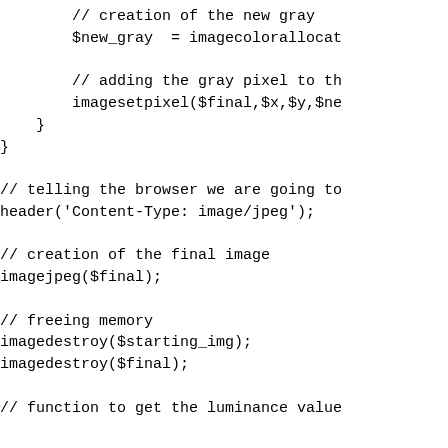// creation of the new gray
        $new_gray  = imagecolorallocat

        // adding the gray pixel to th
        imagesetpixel($final,$x,$y,$ne
    }
}

// telling the browser we are going to
header('Content-Type: image/jpeg');

// creation of the final image
imagejpeg($final);

// freeing memory
imagedestroy($starting_img);
imagedestroy($final);

// function to get the luminance value